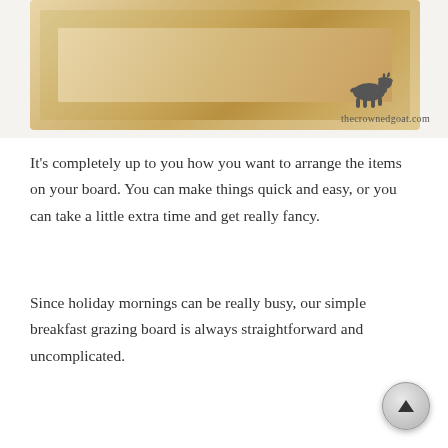[Figure (photo): Close-up photo of a wooden serving board/frame with a raised rectangular border, placed against a white textured wall. The board has a light natural wood color with visible grain. A small dark silhouette of a goat is visible in the lower right of the image along with the watermark text 'thecrownedgoat.com'.]
It's completely up to you how you want to arrange the items on your board. You can make things quick and easy, or you can take a little extra time and get really fancy.
Since holiday mornings can be really busy, our simple breakfast grazing board is always straightforward and uncomplicated.